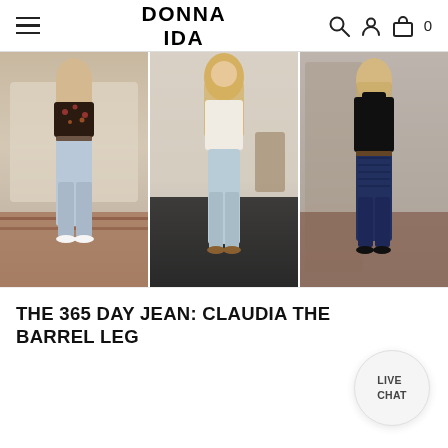DONNA IDA
[Figure (photo): Three fashion photos side by side showing women wearing barrel leg jeans. Left: woman in floral crop top with light wash jeans and white sneakers. Center: woman in white long-sleeve top with light wash jeans and mule heels. Right: woman in black turtleneck with dark patterned jeans and black heels.]
THE 365 DAY JEAN: CLAUDIA THE BARREL LEG